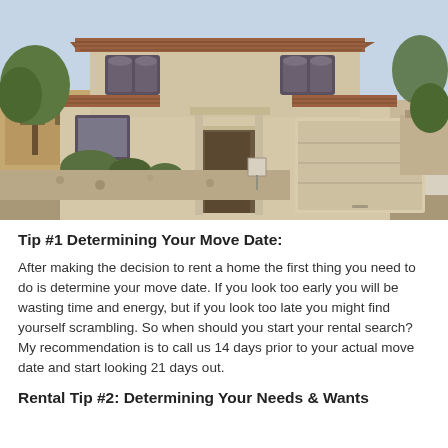[Figure (photo): Exterior photo of a two-story stucco house with a tile roof, two-car garage, desert landscaping in the front yard, and a blue sky with trees visible in the background.]
Tip #1 Determining Your Move Date:
After making the decision to rent a home the first thing you need to do is determine your move date. If you look too early you will be wasting time and energy, but if you look too late you might find yourself scrambling. So when should you start your rental search? My recommendation is to call us 14 days prior to your actual move date and start looking 21 days out.
Rental Tip #2:  Determining Your Needs & Wants